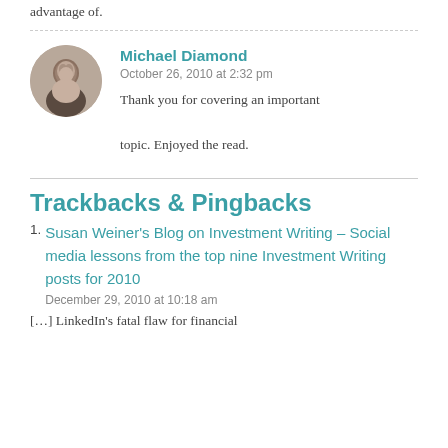advantage of.
Michael Diamond
October 26, 2010 at 2:32 pm
Thank you for covering an important topic. Enjoyed the read.
Trackbacks & Pingbacks
Susan Weiner's Blog on Investment Writing – Social media lessons from the top nine Investment Writing posts for 2010
December 29, 2010 at 10:18 am
[…] LinkedIn's fatal flaw for financial